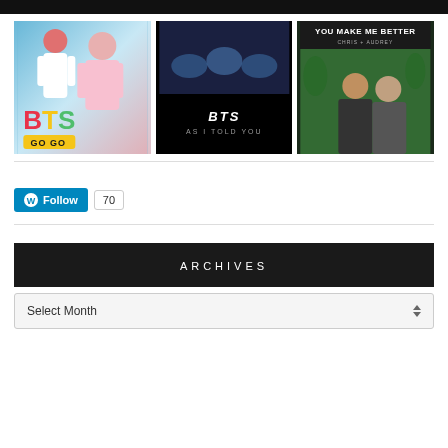[Figure (photo): Black top bar at top of page]
[Figure (photo): BTS GO GO thumbnail — performers in colorful outfits with BTS GO GO logo]
[Figure (photo): BTS As I Told You thumbnail — stage lights on top, BTS As I Told You text on black]
[Figure (photo): You Make Me Better thumbnail — couple smiling, text YOU MAKE ME BETTER CHRIS + AUDREY]
[Figure (screenshot): WordPress Follow button with count 70]
ARCHIVES
Select Month